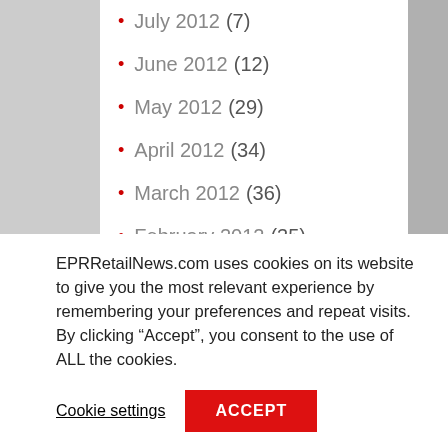July 2012 (7)
June 2012 (12)
May 2012 (29)
April 2012 (34)
March 2012 (36)
February 2012 (35)
January 2012 (25)
December 2011 (35)
EPRRetailNews.com uses cookies on its website to give you the most relevant experience by remembering your preferences and repeat visits. By clicking “Accept”, you consent to the use of ALL the cookies.
Cookie settings
ACCEPT